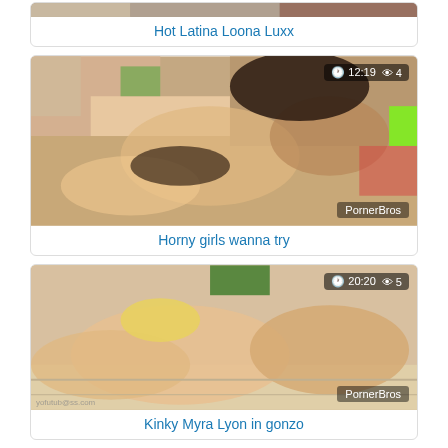[Figure (screenshot): Video thumbnail for Hot Latina Loona Luxx, partially visible at top]
Hot Latina Loona Luxx
[Figure (screenshot): Video thumbnail for Horny girls wanna try, duration 12:19, views 4, PornerBros watermark]
Horny girls wanna try
[Figure (screenshot): Video thumbnail for Kinky Myra Lyon in gonzo, duration 20:20, views 5, PornerBros watermark]
Kinky Myra Lyon in gonzo
[Figure (screenshot): Video thumbnail partially visible at bottom, duration 05:26, views 12]